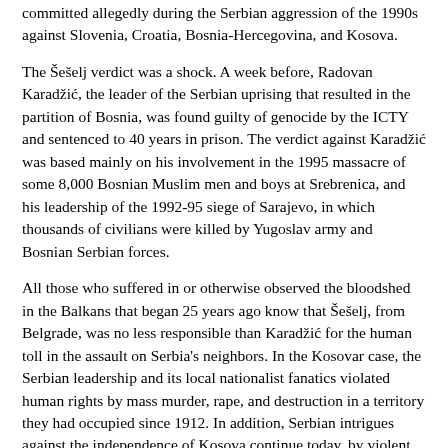committed allegedly during the Serbian aggression of the 1990s against Slovenia, Croatia, Bosnia-Hercegovina, and Kosova.
The Šešelj verdict was a shock. A week before, Radovan Karadžić, the leader of the Serbian uprising that resulted in the partition of Bosnia, was found guilty of genocide by the ICTY and sentenced to 40 years in prison. The verdict against Karadžić was based mainly on his involvement in the 1995 massacre of some 8,000 Bosnian Muslim men and boys at Srebrenica, and his leadership of the 1992-95 siege of Sarajevo, in which thousands of civilians were killed by Yugoslav army and Bosnian Serbian forces.
All those who suffered in or otherwise observed the bloodshed in the Balkans that began 25 years ago know that Šešelj, from Belgrade, was no less responsible than Karadžić for the human toll in the assault on Serbia's neighbors. In the Kosovar case, the Serbian leadership and its local nationalist fanatics violated human rights by mass murder, rape, and destruction in a territory they had occupied since 1912. In addition, Serbian intrigues against the independence of Kosova continue today, by violent as well as political means. As pointed out by The New York Times on March 31, the bloody trail included outrages in Vojvodina, Serbia's remaining "possession."
The apparatus of Serbia's brutal campaigns was led by Slobodan Milošević, who died in 2006 at The Hague, Šešelj, Karadžić, and